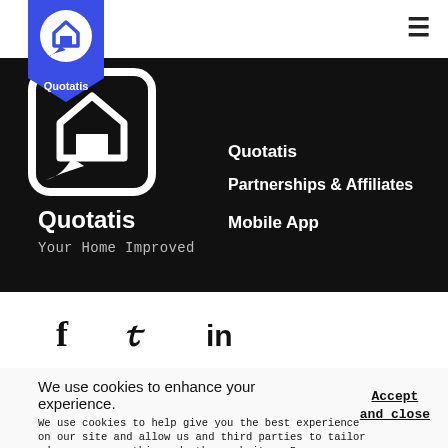[Figure (logo): Quotatis blue shield logo with house icon in top bar]
[Figure (logo): Large Quotatis logo (white outline house/speech bubble) on black background]
Quotatis
Your Home Improved
Quotatis
Partnerships & Affiliates
Mobile App
[Figure (infographic): Social media icons: Facebook (f), Twitter (bird/y), LinkedIn (in)]
We use cookies to enhance your experience.
We use cookies to help give you the best experience on our site and allow us and third parties to tailor ads you see on this and other websites. By continuing you agree to our use of cookies.
Accept and close